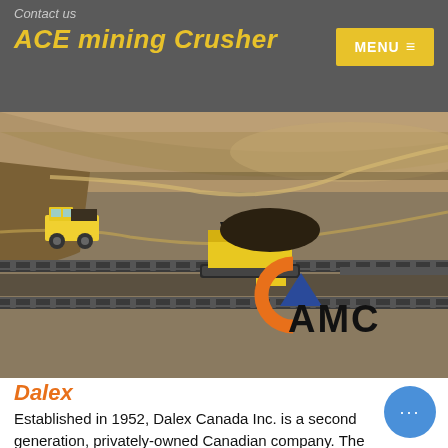Contact us
ACE mining Crusher
[Figure (photo): Aerial view of an open-pit mine with large yellow haul trucks, a crawler-mounted crusher/conveyor system, and long conveyor belts. An AMC logo (orange C-shape and blue triangle with text 'AMC') is overlaid in the lower right corner of the image.]
Dalex
Established in 1952, Dalex Canada Inc. is a second generation, privately-owned Canadian company. The 18,000 sq. ft. head office sits at Ontario’s epicenter Highways 400 & 407. With over 30 employees, Dalex proven leader in the supply of equipment and services to